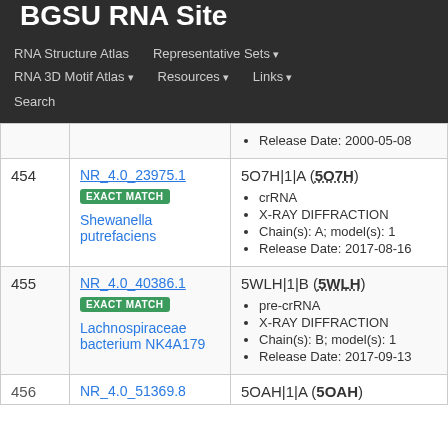BGSU RNA Site
RNA Structure Atlas | Representative Sets ▾ | RNA 3D Motif Atlas ▾ | Resources ▾ | Links ▾ | Search
Release Date: 2000-05-08
| # | ID / Match / Organism | Entry Details |
| --- | --- | --- |
| 454 | NR_4.0_23975.1 EXACT MATCH Shewanella putrefaciens | 5O7H|1|A (5O7H) • crRNA • X-RAY DIFFRACTION • Chain(s): A; model(s): 1 • Release Date: 2017-08-16 |
| 455 | NR_4.0_40386.1 EXACT MATCH Lachnospiraceae bacterium NK4A179 | 5WLH|1|B (5WLH) • pre-crRNA • X-RAY DIFFRACTION • Chain(s): B; model(s): 1 • Release Date: 2017-09-13 |
456 NR_4.0_51369.8 5OAH|1|A (5OAH)